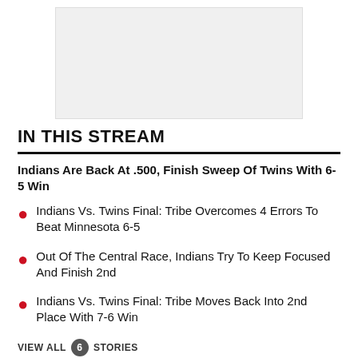[Figure (other): Blank/white image placeholder area at the top of the page]
IN THIS STREAM
Indians Are Back At .500, Finish Sweep Of Twins With 6-5 Win
Indians Vs. Twins Final: Tribe Overcomes 4 Errors To Beat Minnesota 6-5
Out Of The Central Race, Indians Try To Keep Focused And Finish 2nd
Indians Vs. Twins Final: Tribe Moves Back Into 2nd Place With 7-6 Win
VIEW ALL  6  STORIES